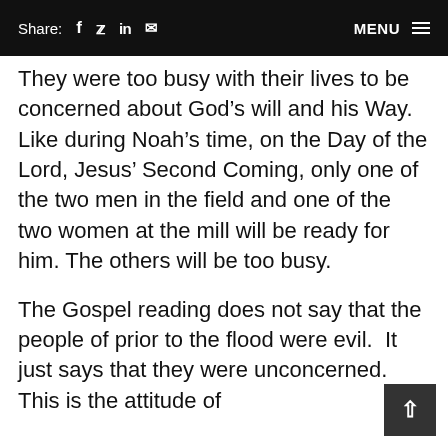Share: f (Facebook) (Twitter) in (LinkedIn) (Email)   MENU ≡
They were too busy with their lives to be concerned about God's will and his Way.  Like during Noah's time, on the Day of the Lord, Jesus' Second Coming, only one of the two men in the field and one of the two women at the mill will be ready for him. The others will be too busy.
The Gospel reading does not say that the people of prior to the flood were evil.  It just says that they were unconcerned.  This is the attitude of